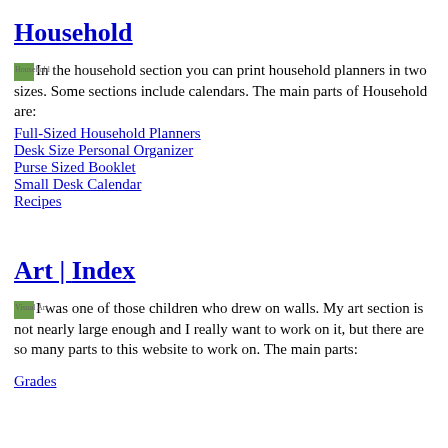Household
In the household section you can print household planners in two sizes. Some sections include calendars. The main parts of Household are:
Full-Sized Household Planners
Desk Size Personal Organizer
Purse Sized Booklet
Small Desk Calendar
Recipes
Art | Index
I was one of those children who drew on walls. My art section is not nearly large enough and I really want to work on it, but there are so many parts to this website to work on. The main parts:
Grades